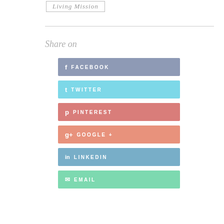Living Mission
[Figure (infographic): Social media share buttons: Facebook, Twitter, Pinterest, Google+, LinkedIn, Email with colored backgrounds and icons]
Share on
FACEBOOK
TWITTER
PINTEREST
GOOGLE +
LINKEDIN
EMAIL